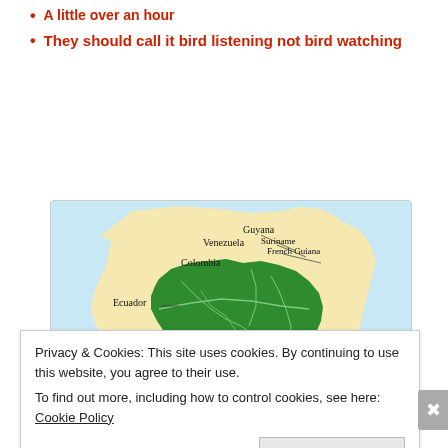A little over an hour
They should call it bird listening not bird watching
[Figure (map): Map of South America showing the Amazon basin region highlighted in green, with country labels: Venezuela, Guyana, Suriname, French Guiana, Colombia, Ecuador, Peru, Bolivia, Brazil]
Privacy & Cookies: This site uses cookies. By continuing to use this website, you agree to their use.
To find out more, including how to control cookies, see here: Cookie Policy